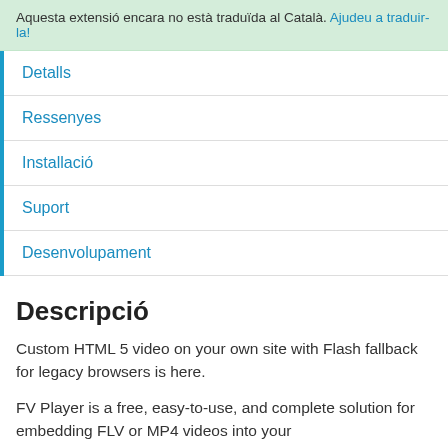Aquesta extensió encara no està traduïda al Català. Ajudeu a traduir-la!
Detalls
Ressenyes
Installació
Suport
Desenvolupament
Descripció
Custom HTML 5 video on your own site with Flash fallback for legacy browsers is here.
FV Player is a free, easy-to-use, and complete solution for embedding FLV or MP4 videos into your